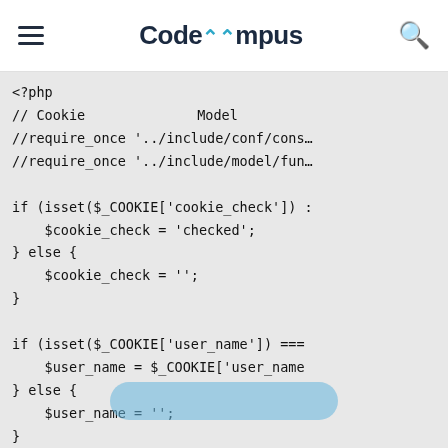CodeCampus
[Figure (screenshot): PHP code snippet showing cookie check logic with isset($_COOKIE) conditionals for cookie_check and user_name variables]